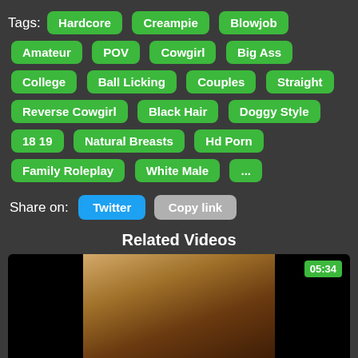Tags: Hardcore Creampie Blowjob Amateur POV Cowgirl Big Ass College Ball Licking Couples Straight Reverse Cowgirl Black Hair Doggy Style 18 19 Natural Breasts Hd Porn Family Roleplay White Male ...
Share on: Twitter Copy link
Related Videos
[Figure (screenshot): Video thumbnail showing a person, with a green duration badge showing 05:34 in the top right corner.]